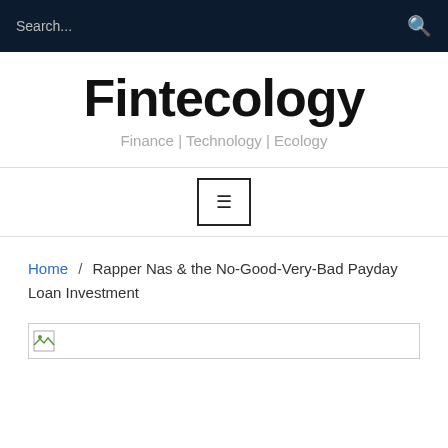Search...
Fintecology
Finance | Technology | Ecology
[Figure (other): Hamburger menu button icon inside a square border]
Home / Rapper Nas & the No-Good-Very-Bad Payday Loan Investment
[Figure (photo): Broken/loading image placeholder with small image icon at left edge]